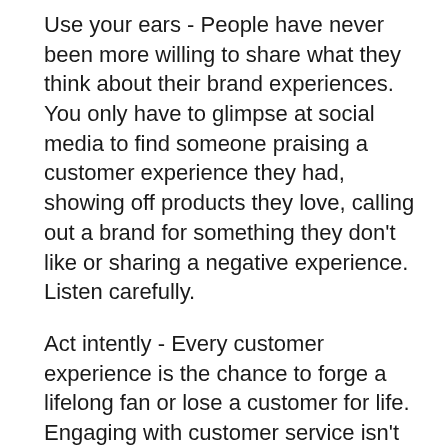Use your ears - People have never been more willing to share what they think about their brand experiences. You only have to glimpse at social media to find someone praising a customer experience they had, showing off products they love, calling out a brand for something they don't like or sharing a negative experience. Listen carefully.
Act intently - Every customer experience is the chance to forge a lifelong fan or lose a customer for life. Engaging with customer service isn't enjoyable for most people, but just one positive encounter can make a customer feel at ease and create all-important brand loyalty.
Use technology thoughtfully - Data and automation can drastically improve the customer experience, there's no doubt about that. But it's a balancing act. Don't overdo it, as the customer experience can become disingenuous.